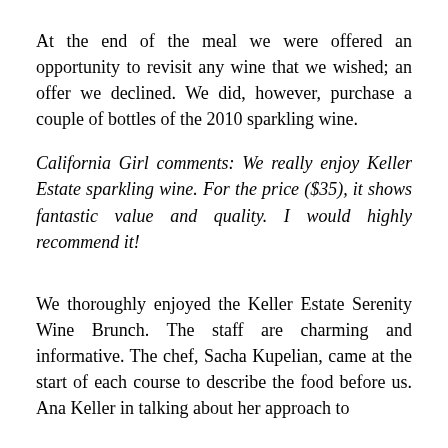At the end of the meal we were offered an opportunity to revisit any wine that we wished; an offer we declined. We did, however, purchase a couple of bottles of the 2010 sparkling wine.
California Girl comments: We really enjoy Keller Estate sparkling wine. For the price ($35), it shows fantastic value and quality. I would highly recommend it!
We thoroughly enjoyed the Keller Estate Serenity Wine Brunch. The staff are charming and informative. The chef, Sacha Kupelian, came at the start of each course to describe the food before us. Ana Keller in talking about her approach to